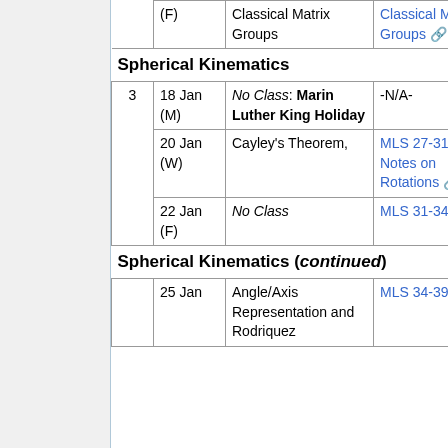| Week | Date | Topic | Reading |
| --- | --- | --- | --- |
|  | (F) | Classical Matrix Groups | Classical Matrix Groups |
|  | Spherical Kinematics |  |  |
| 3 | 18 Jan (M) | No Class: Marin Luther King Holiday | -N/A- |
| 3 | 20 Jan (W) | Cayley's Theorem, | MLS 27-31, Notes on Rotations |
| 3 | 22 Jan (F) | No Class | MLS 31-34 |
|  | Spherical Kinematics (continued) |  |  |
|  | 25 Jan | Angle/Axis Representation and Rodriguez | MLS 34-39 |